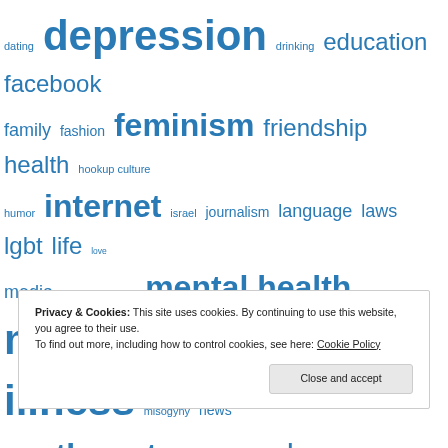[Figure (other): Tag cloud with words of varying sizes in blue: dating, depression, drinking, education, facebook, family, fashion, feminism, friendship, health, hookup culture, humor, internet, israel, journalism, language, laws, lgbt, life, love, media, medicine, men, mental health, mental illness, misogyny, news, northwestern, people, personal, photography, politics, privilege, psychology, race, racism, rape, relationships]
Privacy & Cookies: This site uses cookies. By continuing to use this website, you agree to their use.
To find out more, including how to control cookies, see here: Cookie Policy
Close and accept